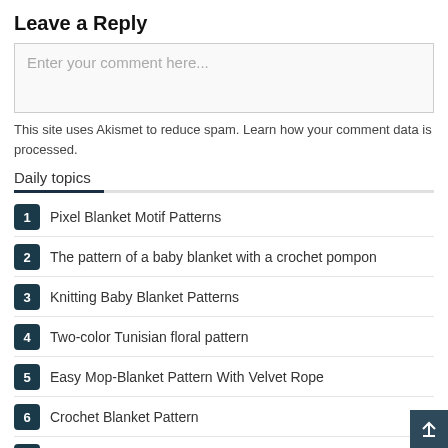Leave a Reply
Enter your comment here...
This site uses Akismet to reduce spam. Learn how your comment data is processed.
Daily topics
1 Pixel Blanket Motif Patterns
2 The pattern of a baby blanket with a crochet pompon
3 Knitting Baby Blanket Patterns
4 Two-color Tunisian floral pattern
5 Easy Mop-Blanket Pattern With Velvet Rope
6 Crochet Blanket Pattern
7 Crochet Blanket Pattern